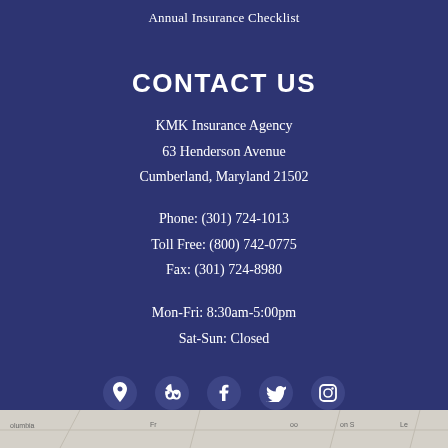Annual Insurance Checklist
CONTACT US
KMK Insurance Agency
63 Henderson Avenue
Cumberland, Maryland 21502
Phone: (301) 724-1013
Toll Free: (800) 742-0775
Fax: (301) 724-8980
Mon-Fri: 8:30am-5:00pm
Sat-Sun: Closed
[Figure (other): Social media icons row: location pin, Yelp, Facebook, Twitter, Instagram]
[Figure (map): Map strip showing street names including Columbia, Woodson, and other local streets in Cumberland Maryland area]